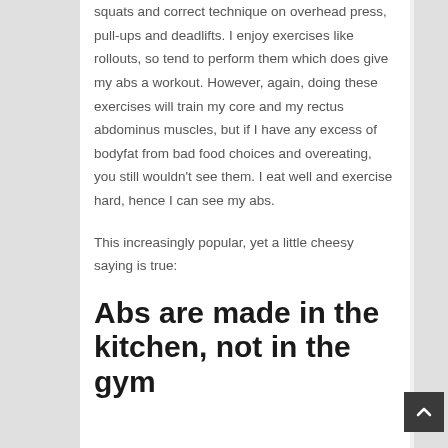squats and correct technique on overhead press, pull-ups and deadlifts. I enjoy exercises like rollouts, so tend to perform them which does give my abs a workout. However, again, doing these exercises will train my core and my rectus abdominus muscles, but if I have any excess of bodyfat from bad food choices and overeating, you still wouldn't see them. I eat well and exercise hard, hence I can see my abs.
This increasingly popular, yet a little cheesy saying is true:
Abs are made in the kitchen, not in the gym